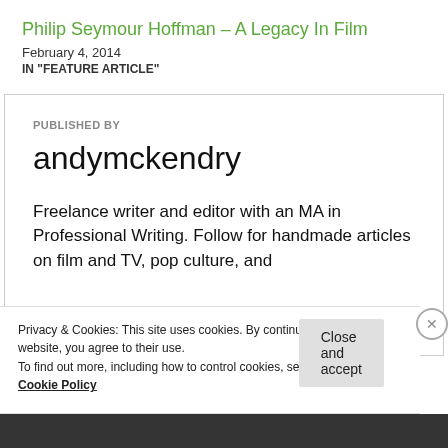Philip Seymour Hoffman – A Legacy In Film
February 4, 2014
IN "FEATURE ARTICLE"
PUBLISHED BY
andymckendry
Freelance writer and editor with an MA in Professional Writing. Follow for handmade articles on film and TV, pop culture, and
Privacy & Cookies: This site uses cookies. By continuing to use this website, you agree to their use.
To find out more, including how to control cookies, see here:
Cookie Policy
Close and accept